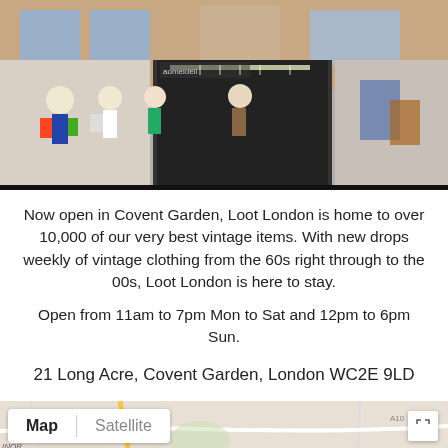[Figure (photo): Storefront photo of Loot London vintage clothing store in Covent Garden, showing mannequins displaying vintage clothing in shop windows]
Now open in Covent Garden, Loot London is home to over 10,000 of our very best vintage items. With new drops weekly of vintage clothing from the 60s right through to the 00s, Loot London is here to stay.
Open from 11am to 7pm Mon to Sat and 12pm to 6pm Sun.
21 Long Acre, Covent Garden, London WC2E 9LD
[Figure (map): Google Maps screenshot showing London area map with Map/Satellite toggle controls, showing areas including ZSL London Zoo, ISLINGTON, Emirates Stadium, Museum of the Home, HACKNEY, and The Regent's area]